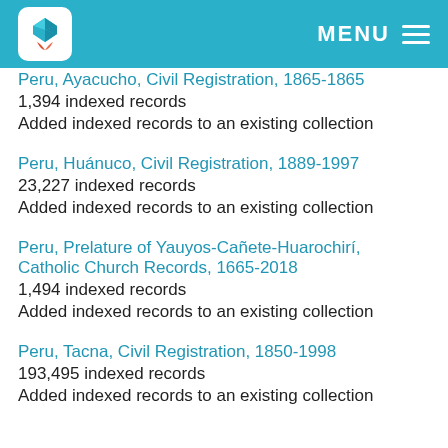MENU
Peru, Ayacucho, Civil Registration, 1865-1865
1,394 indexed records
Added indexed records to an existing collection
Peru, Huánuco, Civil Registration, 1889-1997
23,227 indexed records
Added indexed records to an existing collection
Peru, Prelature of Yauyos-Cañete-Huarochirí, Catholic Church Records, 1665-2018
1,494 indexed records
Added indexed records to an existing collection
Peru, Tacna, Civil Registration, 1850-1998
193,495 indexed records
Added indexed records to an existing collection